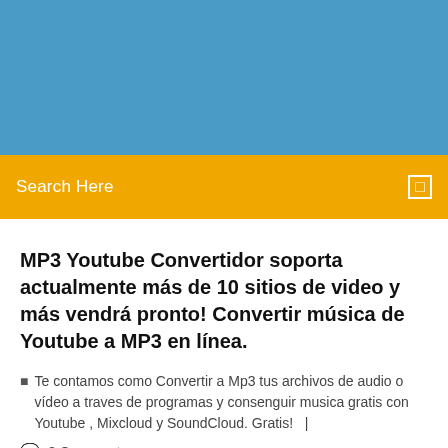[Figure (other): Blue header banner area at the top of the page]
Search Here
MP3 Youtube Convertidor soporta actualmente más de 10 sitios de video y más vendrá pronto! Convertir música de Youtube a MP3 en línea.
Te contamos como Convertir a Mp3 tus archivos de audio o vídeo a traves de programas y consenguir musica gratis con Youtube , Mixcloud y SoundCloud. Gratis!   |
2 Comments